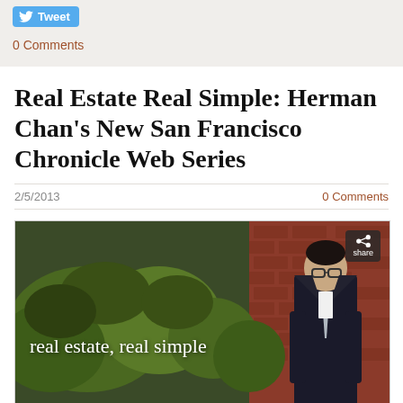[Figure (other): Twitter Tweet button with bird icon]
0 Comments
Real Estate Real Simple: Herman Chan's New San Francisco Chronicle Web Series
2/5/2013
0 Comments
[Figure (screenshot): Video screenshot showing a man in a suit standing outdoors near brick and greenery with text overlay 'real estate, real simple' and a share button in the top right corner]